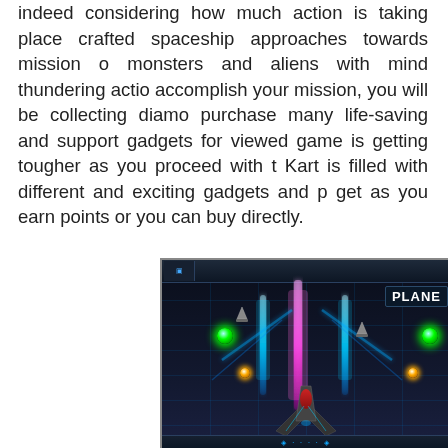indeed considering how much action is taking place crafted spaceship approaches towards mission o monsters and aliens with mind thundering actio accomplish your mission, you will be collecting diamo purchase many life-saving and support gadgets for viewed game is getting tougher as you proceed with t Kart is filled with different and exciting gadgets and p get as you earn points or you can buy directly.
[Figure (screenshot): Screenshot of a space shooter mobile game showing spaceships with neon blue and pink laser beams firing upward, green glowing orbs on each side, yellow orbs, and a 'PLANE' badge in the top right corner, set against a dark space background with blue grid lines and a UI frame.]